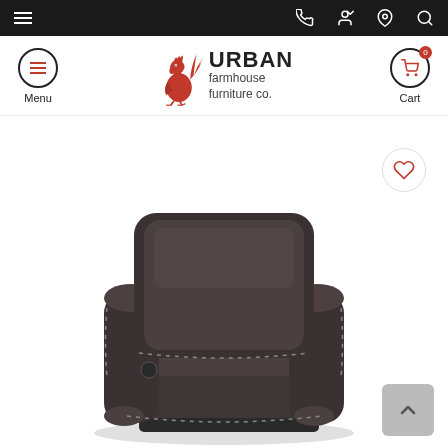Urban Farmhouse Furniture Co. navigation bar with menu, phone, account, location, and search icons
[Figure (logo): Urban Farmhouse Furniture Co. logo with red rooster and bold text]
[Figure (photo): Dark brown/charcoal leather recliner chair with nailhead trim detail, rocker recliner style]